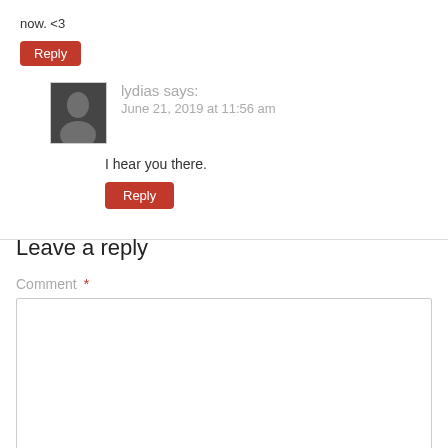now. <3
Reply
[Figure (photo): Avatar photo of user lydias]
lydias says:
June 21, 2019 at 11:56 am
I hear you there.
Reply
Leave a reply
Comment *
[Figure (other): Empty comment textarea input box]